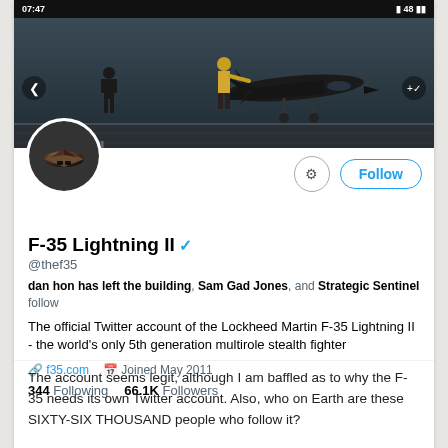07:47  48
[Figure (photo): Banner image showing an F-35 Lightning II jet fighter on an aircraft carrier deck with two crew members in yellow vests. Dark toned military scene.]
F-35 Lightning II ✓
@thef35
dan hon has left the building, Sam Gad Jones, and Strategic Sentinel follow
The official Twitter account of the Lockheed Martin F-35 Lightning II - the world's only 5th generation multirole stealth fighter
f35.com   Joined May 2011
344 Following  66.1K Followers
The account seems legit, although I am baffled as to why the F-35 needs its own Twitter account. Also, who on Earth are these SIXTY-SIX THOUSAND people who follow it?